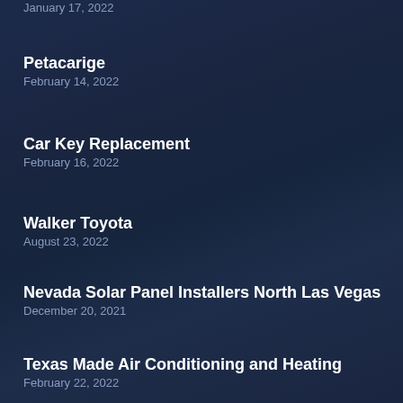January 17, 2022
Petacarige
February 14, 2022
Car Key Replacement
February 16, 2022
Walker Toyota
August 23, 2022
Nevada Solar Panel Installers North Las Vegas
December 20, 2021
Texas Made Air Conditioning and Heating
February 22, 2022